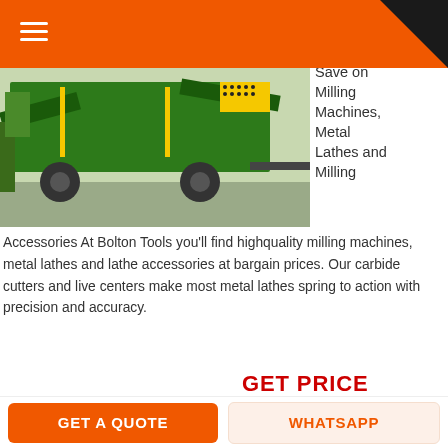[Figure (photo): Green industrial milling/screening machine on a truck, photographed outdoors near vegetation.]
Save on Milling Machines, Metal Lathes and Milling
Accessories At Bolton Tools you'll find highquality milling machines, metal lathes and lathe accessories at bargain prices. Our carbide cutters and live centers make most metal lathes spring to action with precision and accuracy.
GET PRICE
[Figure (photo): Interior of an industrial building or factory with metal structure and overhead lighting.]
Cnc okuma talaşlı imalat
GET A QUOTE   WHATSAPP